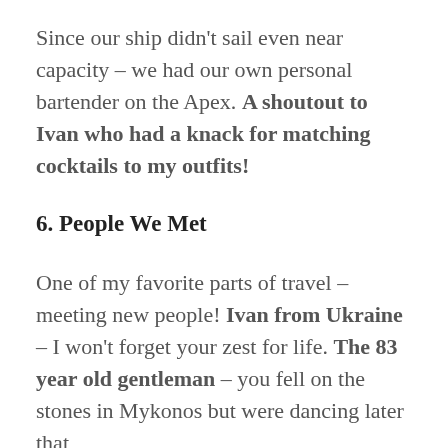Since our ship didn't sail even near capacity – we had our own personal bartender on the Apex. A shoutout to Ivan who had a knack for matching cocktails to my outfits!
6. People We Met
One of my favorite parts of travel – meeting new people! Ivan from Ukraine – I won't forget your zest for life. The 83 year old gentleman – you fell on the stones in Mykonos but were dancing later that